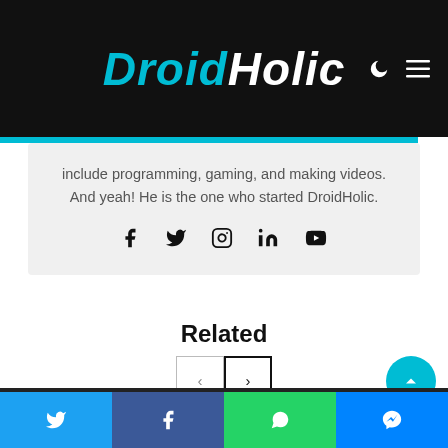DroidHolic
include programming, gaming, and making videos. And yeah! He is the one who started DroidHolic.
[Figure (other): Social media icons: Facebook, Twitter, Instagram, LinkedIn, YouTube]
Related
[Figure (other): Navigation buttons (prev/next) and back-to-top button]
Share buttons: Twitter, Facebook, WhatsApp, Messenger